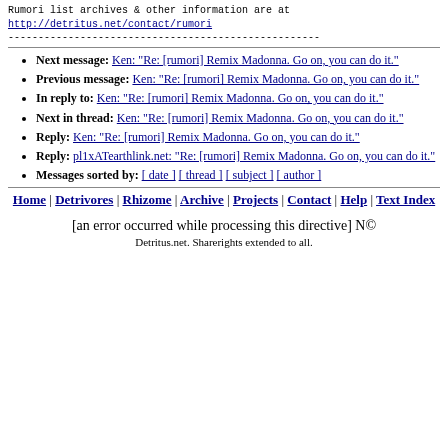Rumori list archives & other information are at http://detritus.net/contact/rumori
----------------------------------------------------
Next message: Ken: "Re: [rumori] Remix Madonna. Go on, you can do it."
Previous message: Ken: "Re: [rumori] Remix Madonna. Go on, you can do it."
In reply to: Ken: "Re: [rumori] Remix Madonna. Go on, you can do it."
Next in thread: Ken: "Re: [rumori] Remix Madonna. Go on, you can do it."
Reply: Ken: "Re: [rumori] Remix Madonna. Go on, you can do it."
Reply: pl1xATearthlink.net: "Re: [rumori] Remix Madonna. Go on, you can do it."
Messages sorted by: [ date ] [ thread ] [ subject ] [ author ]
Home | Detrivores | Rhizome | Archive | Projects | Contact | Help | Text Index
[an error occurred while processing this directive] N© Detritus.net. Sharerights extended to all.